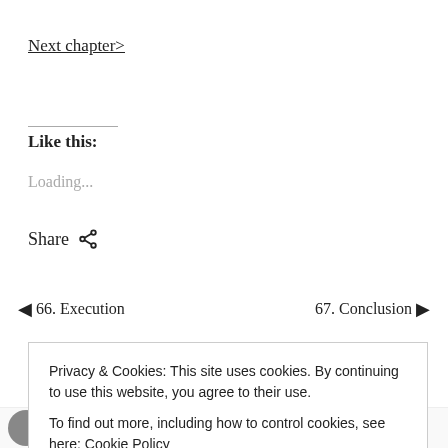Next chapter>
Like this:
Loading...
Share
◄ 66. Execution
67. Conclusion ►
6 Comments
Privacy & Cookies: This site uses cookies. By continuing to use this website, you agree to their use.
To find out more, including how to control cookies, see here: Cookie Policy
Close and accept
Fast credit card payoff